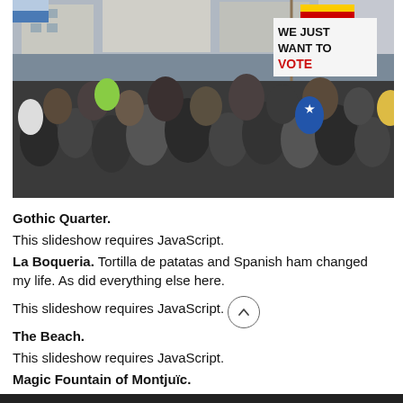[Figure (photo): Crowd of protesters in an outdoor plaza waving Catalan independence flags (estelada) and holding signs including one reading 'WE JUST WANT TO VOTE'. Gothic Quarter area of Barcelona.]
Gothic Quarter.
This slideshow requires JavaScript.
La Boqueria. Tortilla de patatas and Spanish ham changed my life. As did everything else here.
This slideshow requires JavaScript.
The Beach.
This slideshow requires JavaScript.
Magic Fountain of Montjuïc.